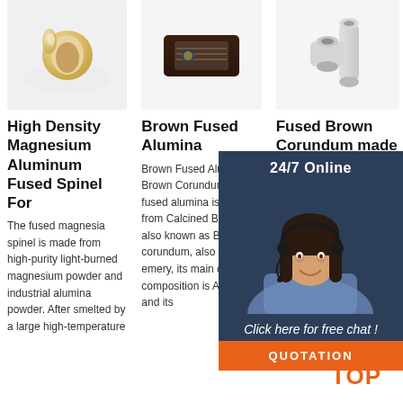[Figure (photo): High Density Magnesium Aluminum Fused Spinel ceramic tube product photo on white background]
[Figure (photo): Brown Fused Alumina dark brown rectangular block product photo]
[Figure (photo): Fused Brown Corundum white pipe/tube product photo]
High Density Magnesium Aluminum Fused Spinel For
The fused magnesia spinel is made from high-purity light-burned magnesium powder and industrial alumina powder. After smelted by a large high-temperature
Brown Fused Alumina
Brown Fused Alumina Brown Corundum Brown fused alumina is made from Calcined Bauxite, also known as Brown corundum, also called as emery, its main chemical composition is AL2O3, and its
Fused Brown Corundum made in china
Sourcing for Fused Brown Corundum, Sourcing high quality products of power tools, hand tools online from Chinese tools manufacturers &
[Figure (infographic): 24/7 Online chat support overlay with customer service representative photo, Click here for free chat button, and QUOTATION button]